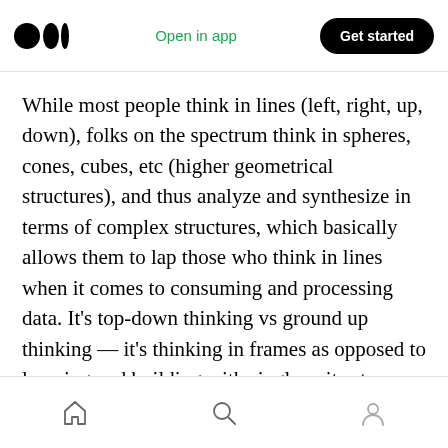Medium logo | Open in app | Get started
While most people think in lines (left, right, up, down), folks on the spectrum think in spheres, cones, cubes, etc (higher geometrical structures), and thus analyze and synthesize in terms of complex structures, which basically allows them to lap those who think in lines when it comes to consuming and processing data. It’s top-down thinking vs ground up thinking — it’s thinking in frames as opposed to learning and building with single units at a time. It’s thinking in chords and arpeggios instead of static melodies
Home | Search | Profile